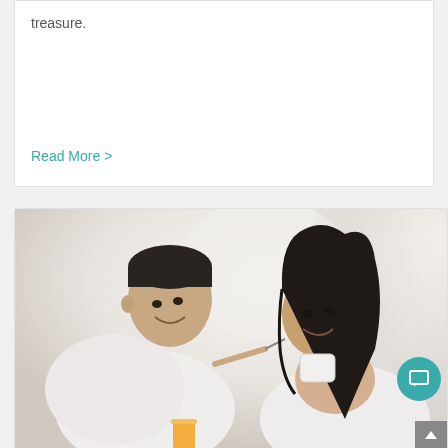treasure.
Read More >
[Figure (photo): A couple sitting together, smiling at each other. The man on the left is wearing white, holding what appears to be a spoon feeding the woman on the right who is also in white, with a glass of orange juice visible. Bright, airy background.]